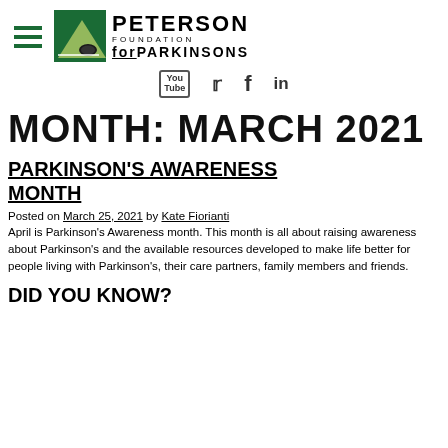[Figure (logo): Peterson Foundation for Parkinsons logo with hamburger menu icon and social media icons (YouTube, Twitter, Facebook, LinkedIn)]
MONTH: MARCH 2021
PARKINSON'S AWARENESS MONTH
Posted on March 25, 2021 by Kate Fiorianti
April is Parkinson's Awareness month. This month is all about raising awareness about Parkinson's and the available resources developed to make life better for people living with Parkinson's, their care partners, family members and friends.
DID YOU KNOW?